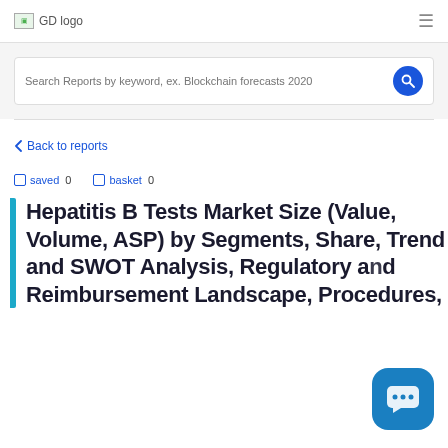GD logo
Search Reports by keyword, ex. Blockchain forecasts 2020
Back to reports
saved 0   basket 0
Hepatitis B Tests Market Size (Value, Volume, ASP) by Segments, Share, Trend and SWOT Analysis, Regulatory and Reimbursement Landscape, Procedures, and Forecasts 2015-2030